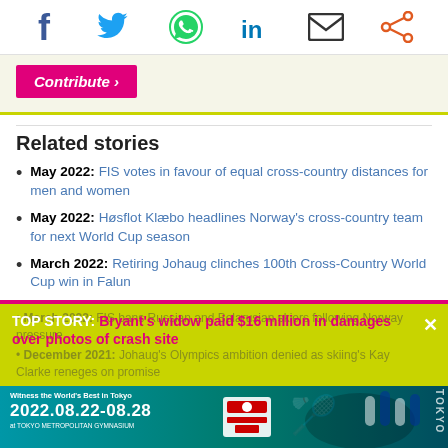[Figure (infographic): Social media sharing icons: Facebook, Twitter, WhatsApp, LinkedIn, Email, Share]
[Figure (infographic): Contribute button (pink/magenta) on beige background with lime green bottom border]
Related stories
May 2022: FIS votes in favour of equal cross-country distances for men and women
May 2022: Høsflot Klæbo headlines Norway's cross-country team for next World Cup season
March 2022: Retiring Johaug clinches 100th Cross-Country World Cup win in Falun
[Figure (screenshot): Overlay banner on yellow-green background: TOP STORY: Bryant's widow paid $16 million in damages over photos of crash site, with close X button]
[Figure (infographic): Bottom advertisement banner for badminton event in Tokyo 2022.08.22-08.28 at Tokyo Metropolitan Gymnasium]